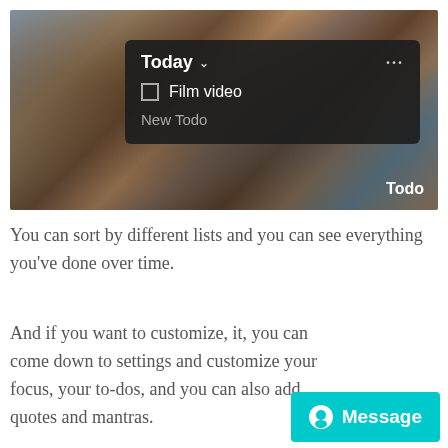[Figure (screenshot): Screenshot of a todo app overlaid on an aerial city background photo. A dark popup panel shows 'Today' heading with chevron and ellipsis menu. Below is a checkbox item 'Film video' and 'New Todo' text. A 'Todo' badge appears in the bottom right of the image.]
You can sort by different lists and you can see everything you've done over time.
And if you want to customize, it, you can come down to settings and customize your focus, your to-dos, and you can also add quotes and mantras.